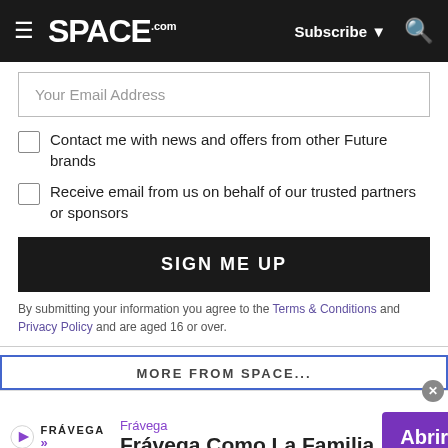SPACE.com — Subscribe | Search
Your Email Address
Contact me with news and offers from other Future brands
Receive email from us on behalf of our trusted partners or sponsors
SIGN ME UP
By submitting your information you agree to the Terms & Conditions and Privacy Policy and are aged 16 or over.
MORE FROM SPACE...
[Figure (screenshot): Advertisement banner for Frávega featuring logo, tagline 'Frávega Como La Familia', and 'Abrir' button]